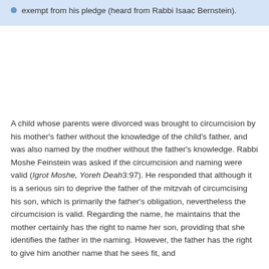exempt from his pledge (heard from Rabbi Isaac Bernstein).
A child whose parents were divorced was brought to circumcision by his mother's father without the knowledge of the child's father, and was also named by the mother without the father's knowledge. Rabbi Moshe Feinstein was asked if the circumcision and naming were valid (Igrot Moshe, Yoreh Deah3:97). He responded that although it is a serious sin to deprive the father of the mitzvah of circumcising his son, which is primarily the father's obligation, nevertheless the circumcision is valid. Regarding the name, he maintains that the mother certainly has the right to name her son, providing that she identifies the father in the naming. However, the father has the right to give him another name that he sees fit, and